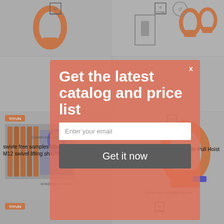[Figure (screenshot): E-commerce product listing page background showing multiple swivel hoist ring and shackle products in a 2-column grid layout. Products include orange-colored lifting hardware. Some cells show YIYUN branding and contact info (ada@tjyiyun.com, info@jijlifting.com).]
swivle free samples lifting point Metric thread M12 swivel lifting shackle
heavy-duty swivel hoist ring/Side-Pull Hoist Rings
Swivel Shackle Swivel Hoist Rings
[Figure (screenshot): Modal popup overlay with salmon/coral pink background. Contains title 'Get the latest catalog and price list', an email input field, and a dark gray 'Get it now' button. An X close button is visible in the top right.]
Get the latest catalog and price list
Enter your email
Get it now
China swivel rotating hoist ring / Stainless steel lifting point double swivel shackle
360 degree rotatability tool-free mounting swivel shackle